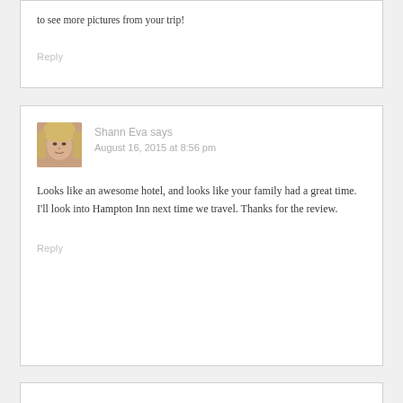to see more pictures from your trip!
Reply
[Figure (photo): Avatar photo of Shann Eva, a woman with blonde hair]
Shann Eva says
August 16, 2015 at 8:56 pm
Looks like an awesome hotel, and looks like your family had a great time. I'll look into Hampton Inn next time we travel. Thanks for the review.
Reply